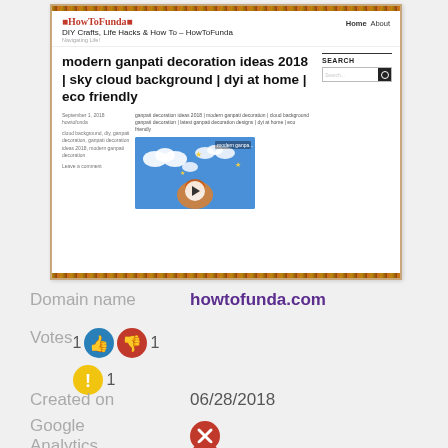[Figure (screenshot): Screenshot of HowToFunda website showing a blog post titled 'modern ganpati decoration ideas 2018 | sky cloud background | dyi at home | eco friendly' with a video thumbnail showing clouds on blue background]
Domain name
howtofunda.com
Votes
1 [thumbs up] 1 [thumbs down] ! 1
Created on
06/28/2018
Google Analytics
[X]
Adsense
[X]